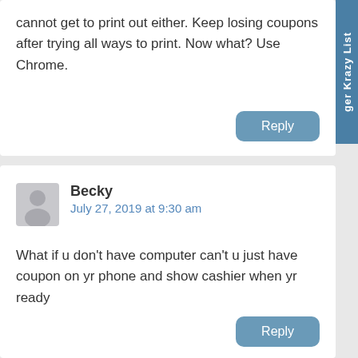cannot get to print out either. Keep losing coupons after trying all ways to print. Now what? Use Chrome.
Reply
Becky
July 27, 2019 at 9:30 am
What if u don't have computer can't u just have coupon on yr phone and show cashier when yr ready
Reply